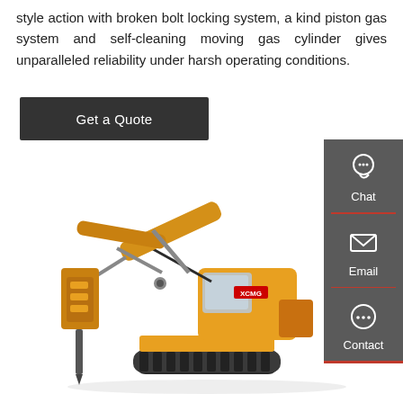style action with broken bolt locking system, a kind piston gas system and self-cleaning moving gas cylinder gives unparalleled reliability under harsh operating conditions.
Get a Quote
[Figure (photo): Yellow XCMG excavator with hydraulic breaker attachment, shown in profile view against white background]
[Figure (infographic): Right sidebar with Chat, Email, and Contact buttons on dark grey background with red dividers]